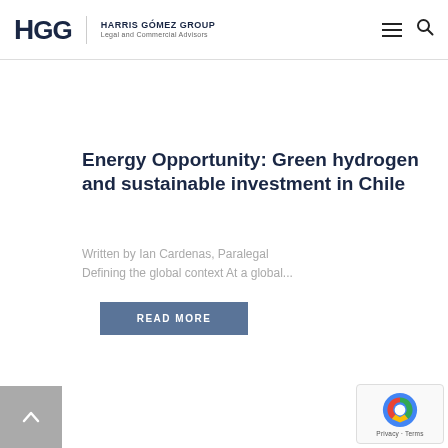HARRIS GÓMEZ GROUP Legal and Commercial Advisors
Energy Opportunity: Green hydrogen and sustainable investment in Chile
Written by Ian Cardenas, Paralegal Defining the global context At a global...
READ MORE